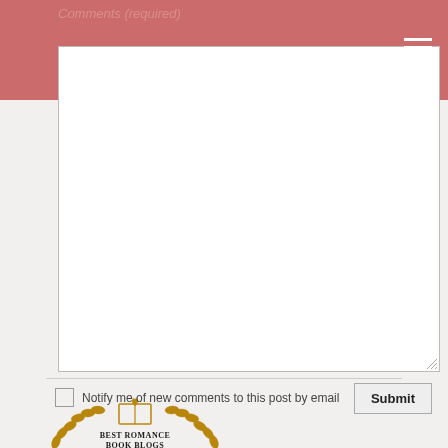Comments (required)
[Figure (screenshot): A white textarea/comment box with a resize handle at the bottom right corner, shown partially overlapped by a reddish-pink navigation bar at the top]
Notify me of new comments to this post by email
Submit
[Figure (logo): Best Romance Book Blogs badge: golden laurel wreath with an open book topped by a heart, and text 'BEST ROMANCE BOOK BLOGS']